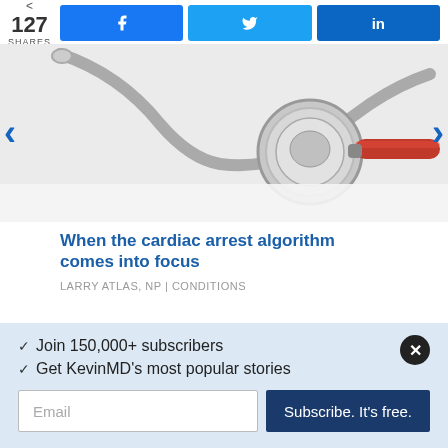< 127 SHARES | f | t | in
[Figure (photo): Close-up photo of a stethoscope with a red handle on a white surface]
When the cardiac arrest algorithm comes into focus
LARRY ATLAS, NP | CONDITIONS
✓ Join 150,000+ subscribers
✓ Get KevinMD's most popular stories